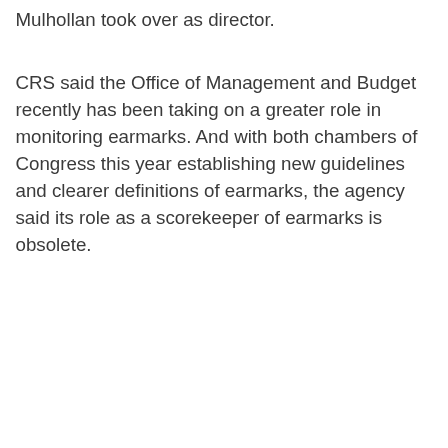Mulhollan took over as director.
CRS said the Office of Management and Budget recently has been taking on a greater role in monitoring earmarks. And with both chambers of Congress this year establishing new guidelines and clearer definitions of earmarks, the agency said its role as a scorekeeper of earmarks is obsolete.
[Figure (other): Advertisement placeholder box with 'Ad' button label]